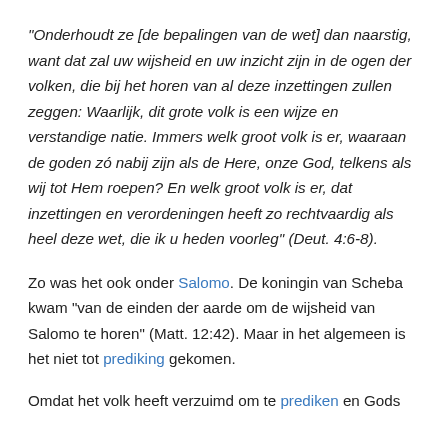“Onderhoudt ze [de bepalingen van de wet] dan naarstig, want dat zal uw wijsheid en uw inzicht zijn in de ogen der volken, die bij het horen van al deze inzettingen zullen zeggen: Waarlijk, dit grote volk is een wijze en verstandige natie. Immers welk groot volk is er, waaraan de goden zó nabij zijn als de Here, onze God, telkens als wij tot Hem roepen? En welk groot volk is er, dat inzettingen en verordeningen heeft zo rechtvaardig als heel deze wet, die ik u heden voorleg” (Deut. 4:6-8).
Zo was het ook onder Salomo. De koningin van Scheba kwam “van de einden der aarde om de wijsheid van Salomo te horen” (Matt. 12:42). Maar in het algemeen is het niet tot prediking gekomen.
Omdat het volk heeft verzuimd om te prediken en Gods